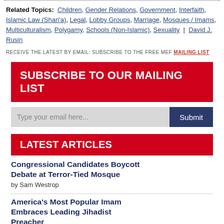Related Topics: Children, Gender Relations, Government, Interfaith, Islamic Law (Shari'a), Legal, Lobby Groups, Marriage, Mosques / Imams, Multiculturalism, Polygamy, Schools (Non-Islamic), Sexuality | David J. Rusin
RECEIVE THE LATEST BY EMAIL: SUBSCRIBE TO THE FREE MEF MAILING LIST
SUBSCRIBE TO OUR MAILING LIST
[Figure (other): Email subscription form with text input placeholder 'Type your email here...' and a Submit button]
LATEST ARTICLES
Congressional Candidates Boycott Debate at Terror-Tied Mosque
by Sam Westrop
America's Most Popular Imam Embraces Leading Jihadist Preacher